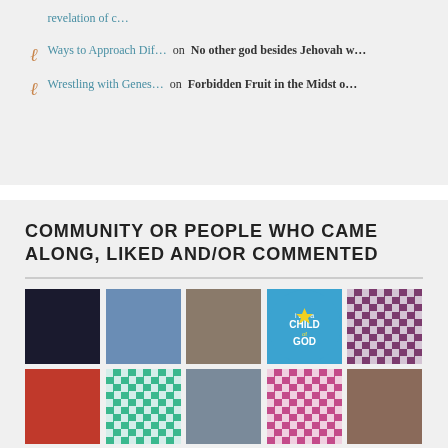revelation of c…
Ways to Approach Dif… on No other god besides Jehovah w…
Wrestling with Genes… on Forbidden Fruit in the Midst o…
COMMUNITY OR PEOPLE WHO CAME ALONG, LIKED AND/OR COMMENTED
[Figure (photo): Grid of 15 community member avatar photos and profile images]